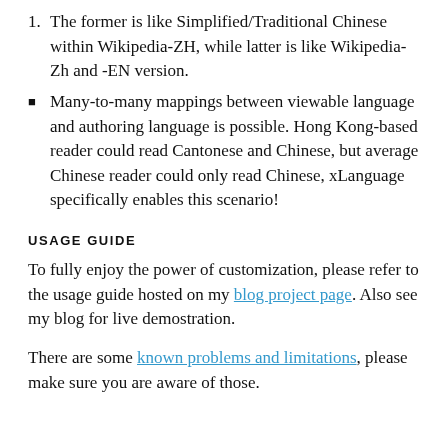1. The former is like Simplified/Traditional Chinese within Wikipedia-ZH, while latter is like Wikipedia-Zh and -EN version.
Many-to-many mappings between viewable language and authoring language is possible. Hong Kong-based reader could read Cantonese and Chinese, but average Chinese reader could only read Chinese, xLanguage specifically enables this scenario!
USAGE GUIDE
To fully enjoy the power of customization, please refer to the usage guide hosted on my blog project page. Also see my blog for live demostration.
There are some known problems and limitations, please make sure you are aware of those.